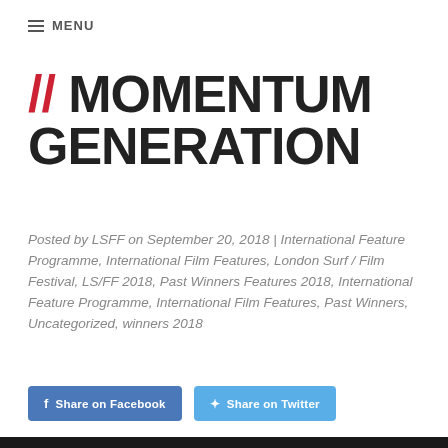≡ MENU
// MOMENTUM GENERATION
Posted by LSFF on September 20, 2018 | International Feature Programme, International Film Features, London Surf / Film Festival, LS/FF 2018, Past Winners Features 2018, International Feature Programme, International Film Features, Past Winners, Uncategorized, winners 2018
Share on Facebook  Share on Twitter
[Figure (photo): Dark image strip at bottom of page, partially visible]